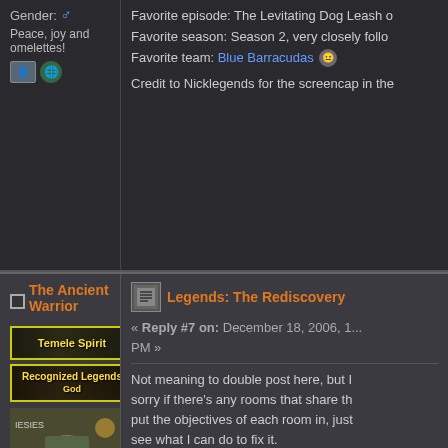Gender: ♂
Peace, joy and omelettes!
Favorite episode: The Levitating Dog Leash o...
Favorite season: Season 2, very closely follo...
Favorite team: Blue Barracudas
Credit to Nicklegends for the screencap in the...
The Ancient Warrior
[Figure (photo): Avatar photo of The Ancient Warrior, a person in costume on a TV show set, with a timer showing 0:30]
Posts: 27011
Gender: ♂
Peace, joy and omelettes!
Legends: The Rediscovery
« Reply #7 on: December 18, 2006, 1... PM »
Not meaning to double post here, but I... sorry if there's any rooms that share th... put the objectives of each room in, just... see what I can do to fix it.
All layouts' rooms are given in a counte... changes to make it easier to read.
Season 1
Layout I
The Crypt
The Great Chasm— This is actually jus... the gap or jump right down.